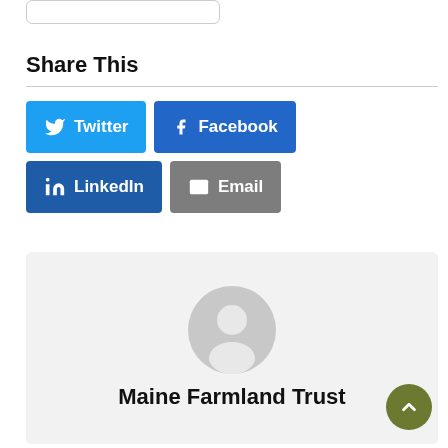[Figure (screenshot): Partial image thumbnail at top of page, cropped]
Share This
[Figure (infographic): Social share buttons: Twitter (blue), Facebook (blue), LinkedIn (dark blue), Email (grey)]
[Figure (illustration): Author box with generic avatar icon and name 'Maine Farmland Trust']
Maine Farmland Trust